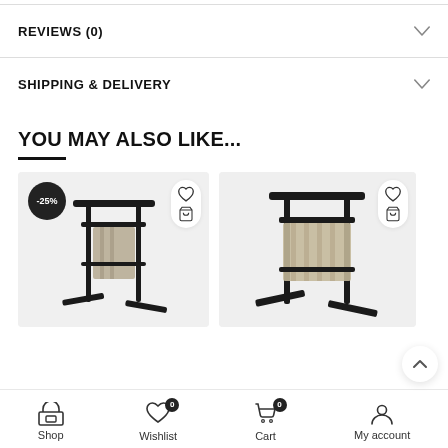REVIEWS (0)
SHIPPING & DELIVERY
YOU MAY ALSO LIKE...
[Figure (photo): Towel rack stand product image with -25% discount badge, wishlist heart icon and add-to-cart icon]
[Figure (photo): Towel rack stand product image with wishlist heart icon and add-to-cart icon]
Shop   Wishlist 0   Cart 0   My account